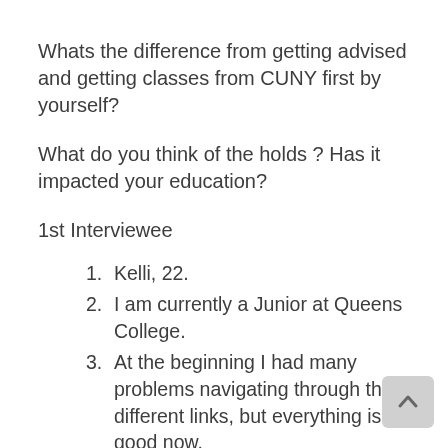Whats the difference from getting advised and getting classes from CUNY first by yourself?
What do you think of the holds ? Has it impacted your education?
1st Interviewee
Kelli, 22.
I am currently a Junior at Queens College.
At the beginning I had many problems navigating through the different links, but everything is good now.
I would improve the navigation for new